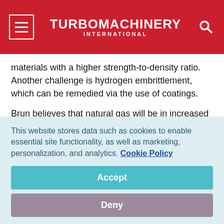TURBOMACHINERY INTERNATIONAL
materials with a higher strength-to-density ratio. Another challenge is hydrogen embrittlement, which can be remedied via the use of coatings.
Brun believes that natural gas will be in increased demand for its use in creating blue hydrogen. This means that natural gas compression and transportation infrastructure will need to be improved and expanded. He suggested increasing throughput in existing pipelines by installing higher horsepower
This website stores data such as cookies to enable essential site functionality, as well as marketing, personalization, and analytics. Cookie Policy
Accept
Deny